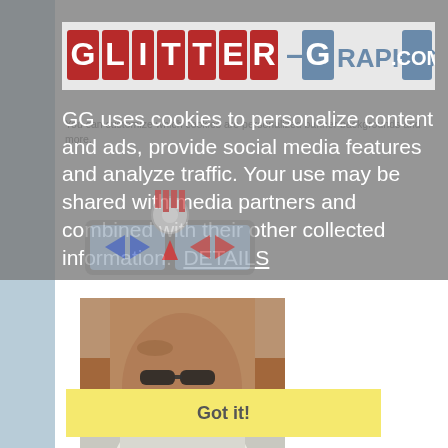[Figure (screenshot): Glitter-Graphics.com website logo banner with red and gray block letters]
GG uses cookies to personalize content and ads, provide social media features and analyze traffic. Your use may be shared with media partners and combined with their other collected information.  DETAILS
[Figure (illustration): Cookie consent overlay with Got it button in yellow, with cartoon rabbit and DJ pad illustration]
[Figure (photo): Photo of a rabbit wearing sunglasses being held up by a hand]
[Figure (photo): Photo of a white rabbit partially visible at bottom of page]